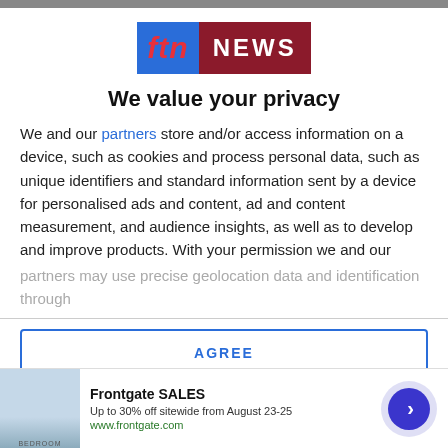[Figure (logo): ftn NEWS logo with blue background for 'ftn' in red italic text and dark red background for 'NEWS' in white letters]
We value your privacy
We and our partners store and/or access information on a device, such as cookies and process personal data, such as unique identifiers and standard information sent by a device for personalised ads and content, ad and content measurement, and audience insights, as well as to develop and improve products. With your permission we and our
partners may use precise geolocation data and identification through
AGREE
MORE OPTIONS
[Figure (infographic): Advertisement for Frontgate SALES - Up to 30% off sitewide from August 23-25, www.frontgate.com, with bedroom image on left and arrow button on right]